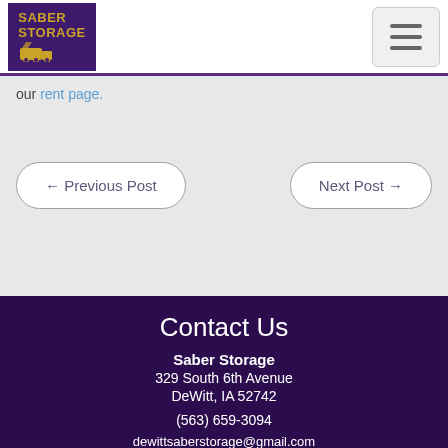Saber Storage
our rent page.
← Previous Post
Next Post →
Contact Us
Saber Storage
329 South 6th Avenue
DeWitt, IA 52742
(563) 659-3094
dewittsaberstorage@gmail.com
Office Hours Listed Below. Call anytime!
Sunday    By Appointment
Monday    By Appointment